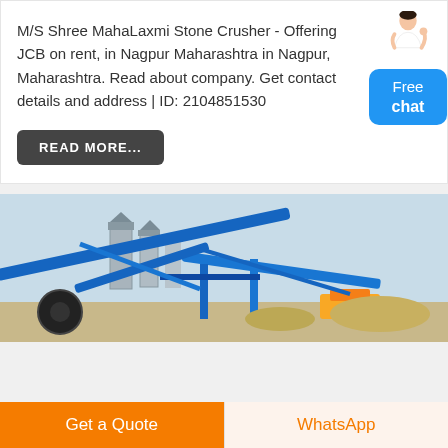M/S Shree MahaLaxmi Stone Crusher - Offering JCB on rent, in Nagpur Maharashtra in Nagpur, Maharashtra. Read about company. Get contact details and address | ID: 2104851530
READ MORE...
[Figure (photo): Industrial stone crusher machinery with blue metal conveyors, silos, and processing equipment at a quarry site]
Get a Quote
WhatsApp